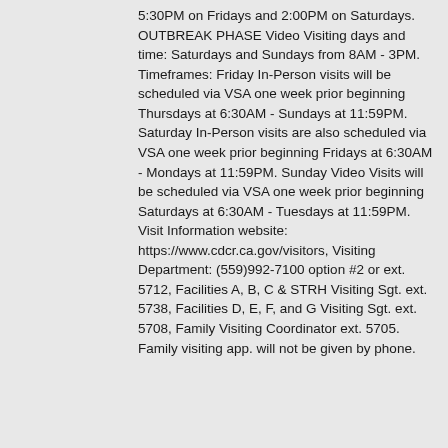5:30PM on Fridays and 2:00PM on Saturdays. OUTBREAK PHASE Video Visiting days and time: Saturdays and Sundays from 8AM - 3PM. Timeframes: Friday In-Person visits will be scheduled via VSA one week prior beginning Thursdays at 6:30AM - Sundays at 11:59PM. Saturday In-Person visits are also scheduled via VSA one week prior beginning Fridays at 6:30AM - Mondays at 11:59PM. Sunday Video Visits will be scheduled via VSA one week prior beginning Saturdays at 6:30AM - Tuesdays at 11:59PM. Visit Information website: https://www.cdcr.ca.gov/visitors, Visiting Department: (559)992-7100 option #2 or ext. 5712, Facilities A, B, C & STRH Visiting Sgt. ext. 5738, Facilities D, E, F, and G Visiting Sgt. ext. 5708, Family Visiting Coordinator ext. 5705. Family visiting app. will not be given by phone.